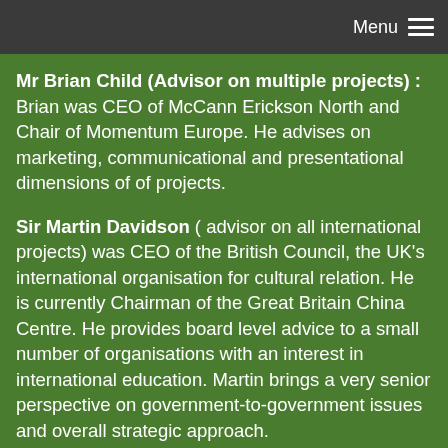Menu
Mr Brian Child (Advisor on multiple projects) : Brian was CEO of McCann Erickson North and Chair of Momentum Europe. He advises on marketing, communicational and presentational dimensions of of projects.
Sir Martin Davidson ( advisor on all international projects) was CEO of the British Council, the UK's international organisation for cultural relation. He is currently Chairman of the Great Britain China Centre. He provides board level advice to a small number of organisations with an interest in international education. Martin brings a very senior perspective on government-to-government issues and overall strategic approach.
Stephen Dunmore OBE was formerly the UK wide Chief Executive of the CEO Big Lottery.  His subsequent career